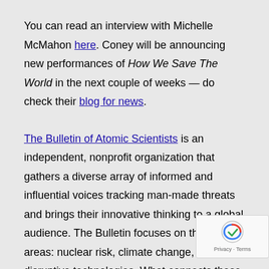You can read an interview with Michelle McMahon here. Coney will be announcing new performances of How We Save The World in the next couple of weeks — do check their blog for news.
The Bulletin of Atomic Scientists is an independent, nonprofit organization that gathers a diverse array of informed and influential voices tracking man-made threats and brings their innovative thinking to a global audience. The Bulletin focuses on three main areas: nuclear risk, climate change, and disruptive technologies. What connects these topics is a driving belief that because humans created them, we can control them. The Doomsday Clock is a design that warns the public about how close we are to destroying our world with dangerous technologies of our own making. It is a metaphor, a reminder of